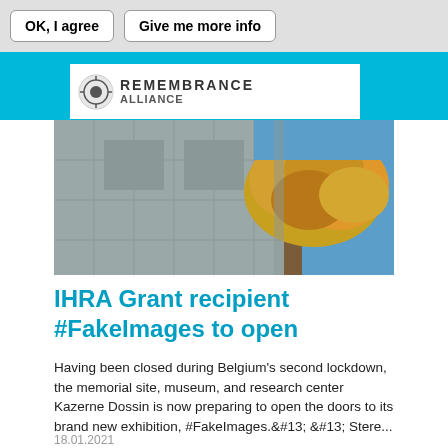OK, I agree | Give me more info
[Figure (logo): IHRA Remembrance Alliance logo on white background within cyan header strip]
[Figure (photo): Photograph of a large concrete monument or memorial wall with an autumn yellow-leafed tree in front, blue sky background]
IHRA Grant recipient #FakeImages to open
Having been closed during Belgium's second lockdown, the memorial site, museum, and research center Kazerne Dossin is now preparing to open the doors to its brand new exhibition, #FakeImages.&#13; &#13; Stere...
18.01.2021